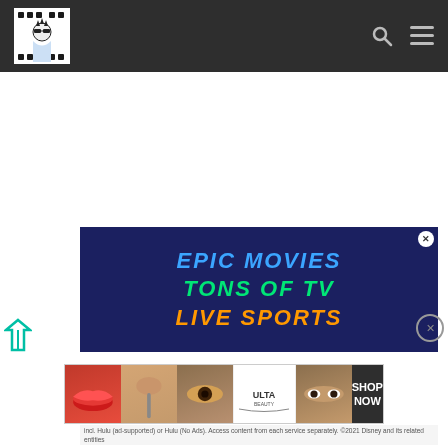[Figure (screenshot): Website header/navigation bar with logo (illustrated person in sunglasses), search icon, and hamburger menu icon on dark background]
[Figure (screenshot): Advertisement banner with dark blue background showing 'EPIC MOVIES' in blue, 'TONS OF TV' in green, 'LIVE SPORTS' in orange italic bold text]
[Figure (screenshot): Ulta Beauty advertisement banner with beauty product images showing lips, makeup brush, eyes, Ulta logo, and SHOP NOW call to action]
incl. Hulu (ad-supported) or Hulu (No Ads). Access content from each service separately. ©2021 Disney and its related entities